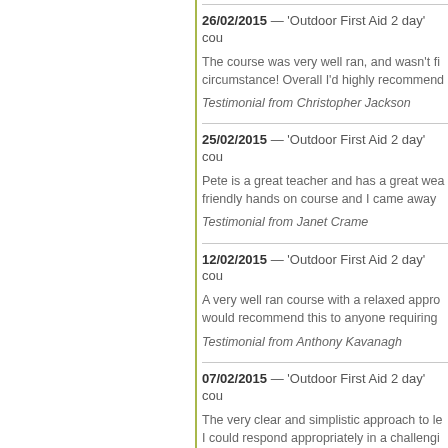26/02/2015 — 'Outdoor First Aid 2 day' cou...
The course was very well ran, and wasn't fi... circumstance! Overall I'd highly recommend...
Testimonial from Christopher Jackson
25/02/2015 — 'Outdoor First Aid 2 day' cou...
Pete is a great teacher and has a great wea... friendly hands on course and I came away...
Testimonial from Janet Crame
12/02/2015 — 'Outdoor First Aid 2 day' cou...
A very well ran course with a relaxed appro... would recommend this to anyone requiring...
Testimonial from Anthony Kavanagh
07/02/2015 — 'Outdoor First Aid 2 day' cou...
The very clear and simplistic approach to le... I could respond appropriately in a challengi...